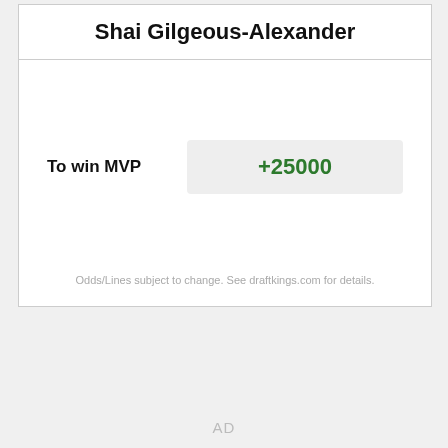Shai Gilgeous-Alexander
| Bet | Odds |
| --- | --- |
| To win MVP | +25000 |
Odds/Lines subject to change. See draftkings.com for details.
AD